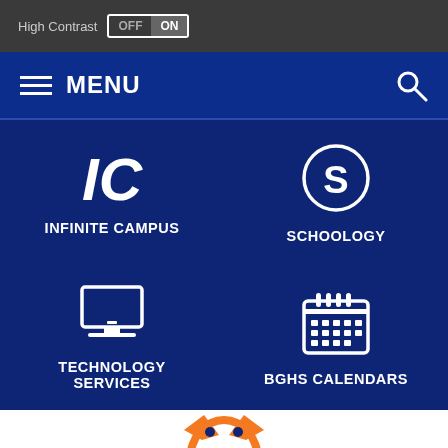High Contrast OFF ON
MENU
[Figure (screenshot): Navigation grid with four items: Infinite Campus (IC italic text), Schoology (S in circle), Technology Services (laptop icon), BGHS Calendars (calendar icon)]
[Figure (illustration): Partial mascot logo at bottom of page, orange and white on white background]